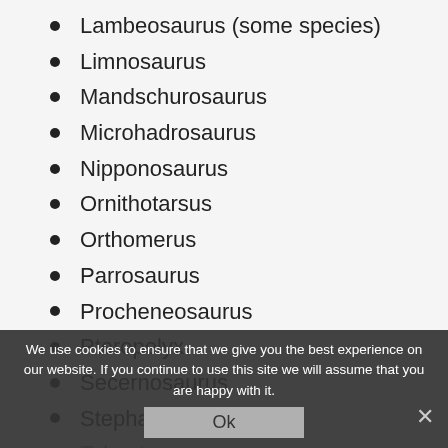Lambeosaurus (some species)
Limnosaurus
Mandschurosaurus
Microhadrosaurus
Nipponosaurus
Ornithotarsus
Orthomerus
Parrosaurus
Procheneosaurus
Pteropelyx
Secernosaurus
Stephanosaurus
Telmatosaurus
Tetragonosaurus
Thespesius
Trachodon
Willinakaqe
We use cookies to ensure that we give you the best experience on our website. If you continue to use this site we will assume that you are happy with it.